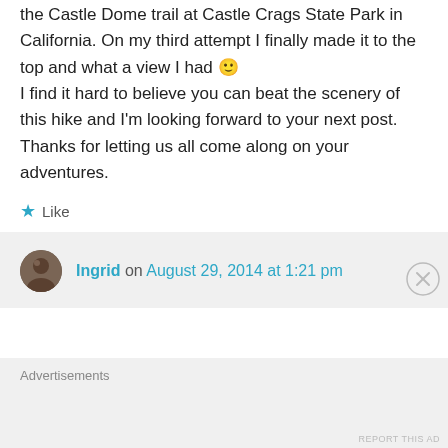This reminds me of the three times we hiked the Castle Dome trail at Castle Crags State Park in California. On my third attempt I finally made it to the top and what a view I had 🙂 I find it hard to believe you can beat the scenery of this hike and I'm looking forward to your next post. Thanks for letting us all come along on your adventures.
★ Like
Ingrid on August 29, 2014 at 1:21 pm
Advertisements